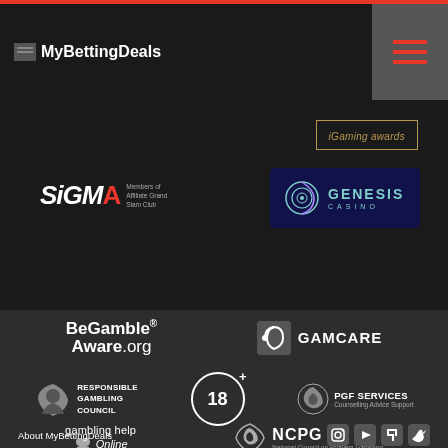[Figure (logo): MyBettingDeals website header with logo and hamburger menu button]
[Figure (logo): iGaming Awards badge in gold border]
[Figure (logo): SiGMA Members of Affiliate Grand Slam Club logo]
[Figure (logo): Genesis Casino logo on dark blue background]
[Figure (logo): BeGambleAware.org logo]
[Figure (logo): GamCare logo]
[Figure (logo): Responsible Gambling Council logo]
[Figure (logo): 18+ age restriction circle logo]
[Figure (logo): PGF Services Counselling Advice Support logo]
[Figure (logo): gambling help Online logo]
[Figure (logo): NCPG National Council on Problem Gambling logo]
About MyBettingDeals
[Figure (logo): Social media icons: Instagram, YouTube, Twitch, Twitter]